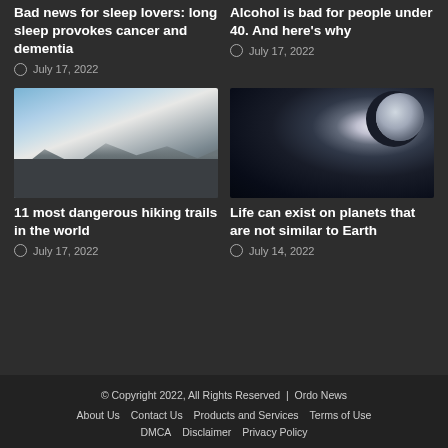Bad news for sleep lovers: long sleep provokes cancer and dementia
July 17, 2022
Alcohol is bad for people under 40. And here's why
July 17, 2022
[Figure (photo): Mountain landscape with rocky foreground and snow-capped peaks against blue sky]
11 most dangerous hiking trails in the world
July 17, 2022
[Figure (photo): Dark space scene with crescent moon against nebula clouds]
Life can exist on planets that are not similar to Earth
July 14, 2022
© Copyright 2022, All Rights Reserved | Ordo News
About Us  Contact Us  Products and Services  Terms of Use
DMCA  Disclaimer  Privacy Policy